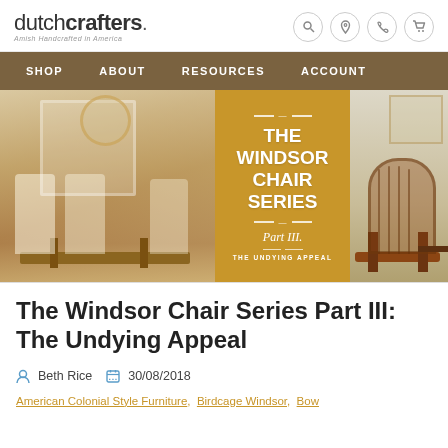dutchcrafters. Amish Handcrafted in America
[Figure (screenshot): Navigation bar with SHOP, ABOUT, RESOURCES, ACCOUNT links on brown background]
[Figure (photo): The Windsor Chair Series Part III - The Undying Appeal. Banner image showing Windsor chairs in two room settings flanking a golden text overlay panel.]
The Windsor Chair Series Part III: The Undying Appeal
Beth Rice  30/08/2018
American Colonial Style Furniture, Birdcage Windsor, Bow